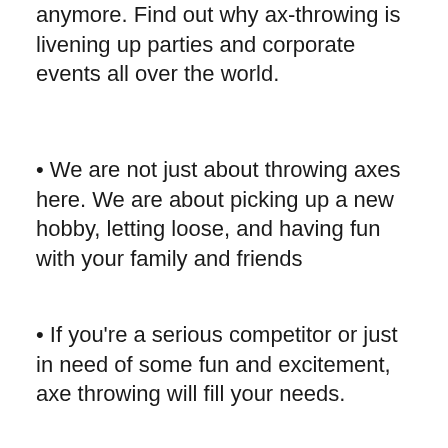anymore. Find out why ax-throwing is livening up parties and corporate events all over the world.
• We are not just about throwing axes here. We are about picking up a new hobby, letting loose, and having fun with your family and friends
• If you're a serious competitor or just in need of some fun and excitement, axe throwing will fill your needs.